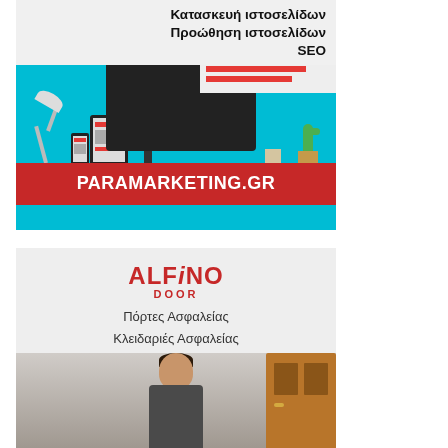[Figure (infographic): Paramarketing.gr advertisement banner. Teal background with desk scene showing monitor, tablet, phone. Text: Κατασκευή ιστοσελίδων, Προώθηση ιστοσελίδων, SEO. Red bar at bottom: PARAMARKETING.GR]
[Figure (infographic): Alfino Door advertisement. Gray background with logo 'ALFiNO DOOR' in red. Text: Πόρτες Ασφαλείας, Κλειδαριές Ασφαλείας. Photo of person next to a door.]